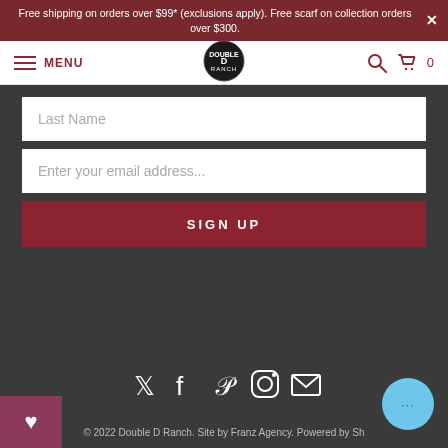Free shipping on orders over $99* (exclusions apply). Free scarf on collection orders over $300.
MENU
Last Name
Enter your email address...
SIGN UP
[Figure (illustration): Social media icons: Twitter, Facebook, Pinterest, Instagram, Email]
© 2022 Double D Ranch. Site by Franz Agency. Powered by Sh...